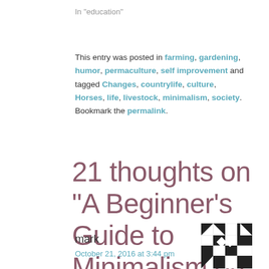In "education"
This entry was posted in farming, gardening, humor, permaculture, self improvement and tagged Changes, countrylife, culture, Horses, life, livestock, minimalism, society. Bookmark the permalink.
21 thoughts on “A Beginner’s Guide to Minimalism on the Farm”
mark
October 21, 2016 at 3:44 pm
[Figure (illustration): Black and white geometric quilt-pattern avatar icon]